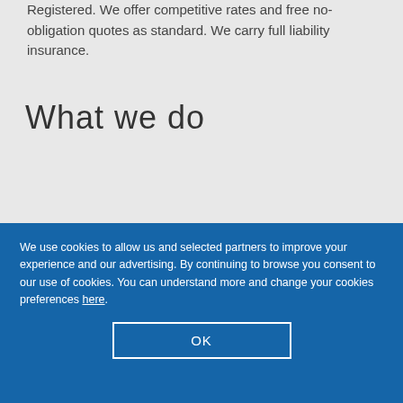Registered. We offer competitive rates and free no-obligation quotes as standard. We carry full liability insurance.
What we do
We use cookies to allow us and selected partners to improve your experience and our advertising. By continuing to browse you consent to our use of cookies. You can understand more and change your cookies preferences here.